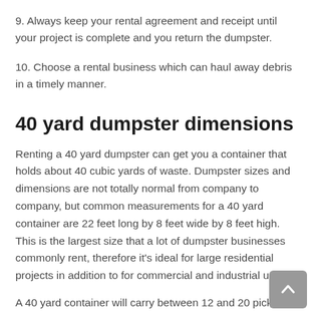9. Always keep your rental agreement and receipt until your project is complete and you return the dumpster.
10. Choose a rental business which can haul away debris in a timely manner.
40 yard dumpster dimensions
Renting a 40 yard dumpster can get you a container that holds about 40 cubic yards of waste. Dumpster sizes and dimensions are not totally normal from company to company, but common measurements for a 40 yard container are 22 feet long by 8 feet wide by 8 feet high. This is the largest size that a lot of dumpster businesses commonly rent, therefore it's ideal for large residential projects in addition to for commercial and industrial use.
A 40 yard container will carry between 12 and 20 pickup truck loads of debris. Examples of the amount of waste and debris